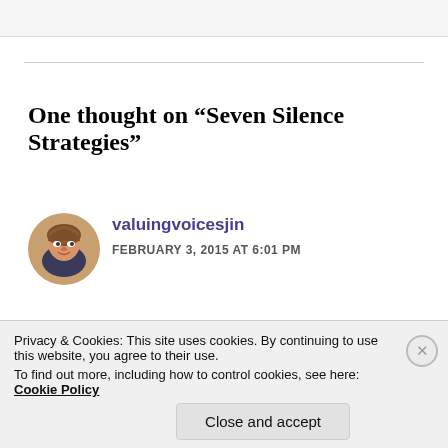One thought on “Seven Silence Strategies”
[Figure (photo): Circular avatar photo of a woman (valuingvoicesjin) smiling, with short brown hair, wearing a dark top]
valuingvoicesjin
FEBRUARY 3, 2015 AT 6:01 PM
Ahhhhhh… Breathing in, I know that I am breathing in, breathing out, I know that I am breathing out (Thich Nhat
Privacy & Cookies: This site uses cookies. By continuing to use this website, you agree to their use.
To find out more, including how to control cookies, see here: Cookie Policy
Close and accept